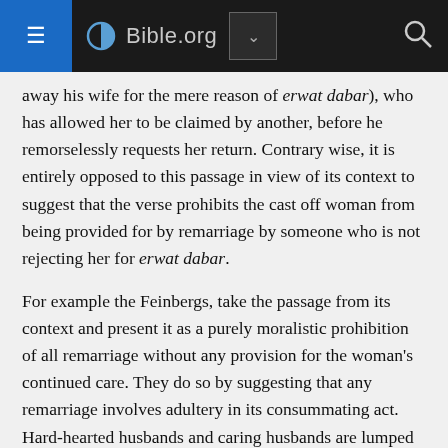Bible.org
away his wife for the mere reason of erwat dabar), who has allowed her to be claimed by another, before he remorselessly requests her return. Contrary wise, it is entirely opposed to this passage in view of its context to suggest that the verse prohibits the cast off woman from being provided for by remarriage by someone who is not rejecting her for erwat dabar.
For example the Feinbergs, take the passage from its context and present it as a purely moralistic prohibition of all remarriage without any provision for the woman's continued care. They do so by suggesting that any remarriage involves adultery in its consummating act. Hard-hearted husbands and caring husbands are lumped together. Actually, the Feinbergs prove themselves not to be hard-hearted after all. A certain inconsistency in their